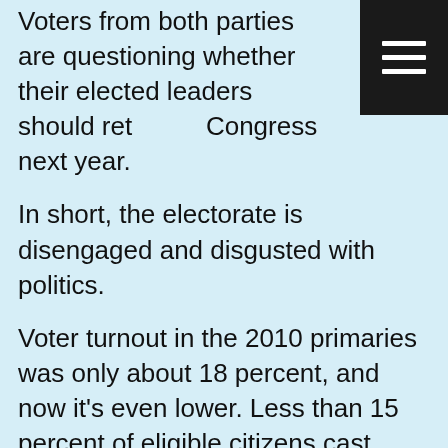Voters from both parties are questioning whether their elected leaders should return to Congress next year.
In short, the electorate is disengaged and disgusted with politics.
Voter turnout in the 2010 primaries was only about 18 percent, and now it's even lower. Less than 15 percent of eligible citizens cast ballots in the 25 states that have held statewide primaries this year, according to a new report from the Center for the Study of the American Electorate.
"Turnout is low because the American people are deeply discontented and disenchanted with American politics," explains Peter Wehner, a Republican analyst. "The country is in bad shape it's in bad shape economically, and the world is aflame. There's a sense that